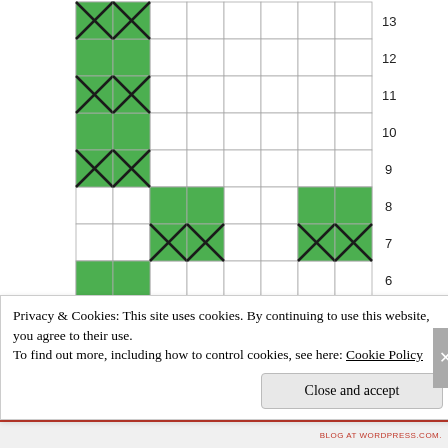[Figure (other): A grid/matrix diagram showing green filled cells (some with X cross patterns) and white empty cells, arranged in columns and rows numbered 6-13 on the right side. The grid represents a knitting or craft pattern chart.]
Privacy & Cookies: This site uses cookies. By continuing to use this website, you agree to their use.
To find out more, including how to control cookies, see here: Cookie Policy
Close and accept